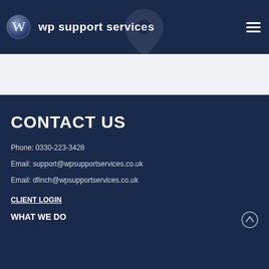wp support services
CONTACT US
Phone: 0330-223-3428
Email: support@wpsupportservices.co.uk
Email: dfinch@wpsupportservices.co.uk
CLIENT LOGIN
WHAT WE DO